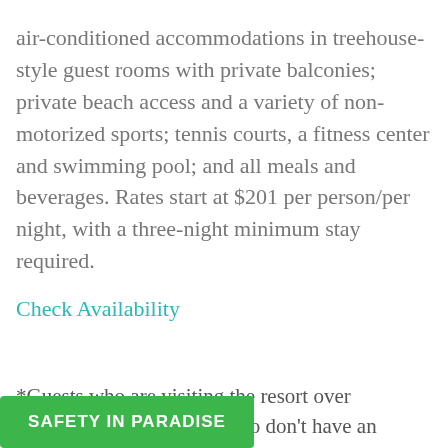air-conditioned accommodations in treehouse-style guest rooms with private balconies; private beach access and a variety of non-motorized sports; tennis courts, a fitness center and swimming pool; and all meals and beverages. Rates start at $201 per person/per night, with a three-night minimum stay required.
Check Availability
*Guests who are visiting the resort over Halloween weekend but who don't have an interest in the dinner party can opt to dine at [the] restaurant, which will serve from its a la carte menu that evening.
SAFETY IN PARADISE